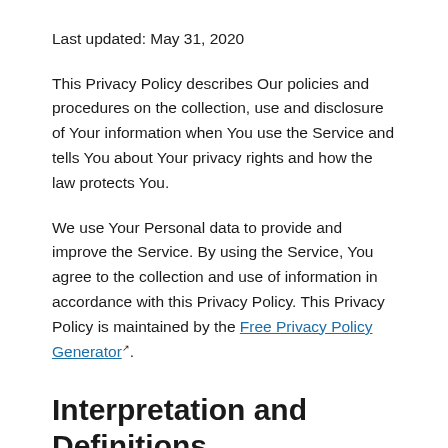Last updated: May 31, 2020
This Privacy Policy describes Our policies and procedures on the collection, use and disclosure of Your information when You use the Service and tells You about Your privacy rights and how the law protects You.
We use Your Personal data to provide and improve the Service. By using the Service, You agree to the collection and use of information in accordance with this Privacy Policy. This Privacy Policy is maintained by the Free Privacy Policy Generator.
Interpretation and Definitions